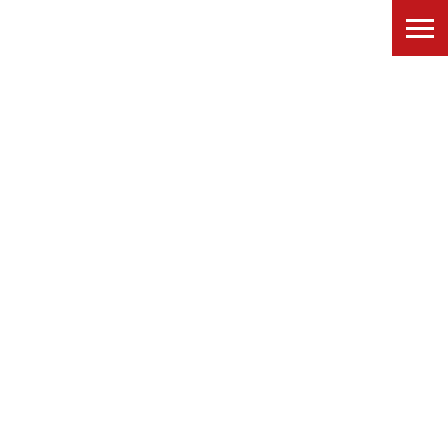[Figure (other): Red hamburger menu button in top-right corner]
Chan, Allison — Biology
Chavez, Vanessa — Geography
Chynoweth, Mark — Biology
Cozen, Brian & O'Byrne, Megan — Communications
Endara, Maria-Jose — Biology